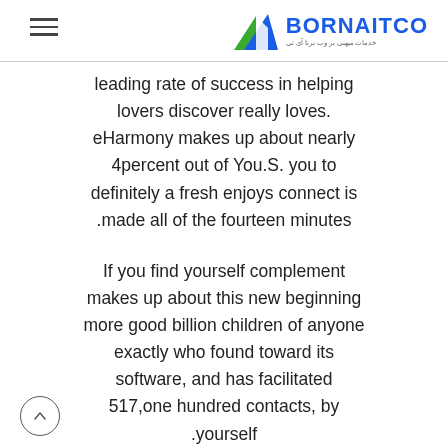BORNAITCO — خدمات میهنی بر وب برنا آی تی
leading rate of success in helping lovers discover really loves. eHarmony makes up about nearly 4percent out of You.S. you to definitely a fresh enjoys connect is made all of the fourteen minutes.
If you find yourself complement makes up about this new beginning more good billion children of anyone exactly who found toward its software, and has facilitated 517,one hundred contacts, by yourself.